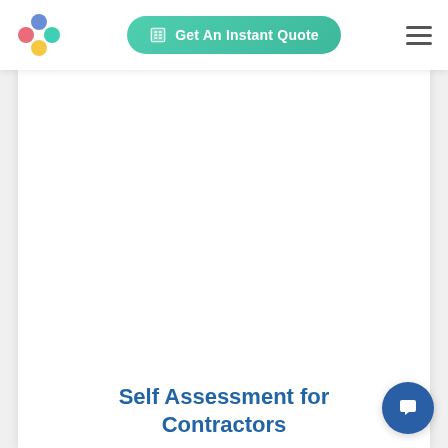Get An Instant Quote
Self Assessment for Contractors